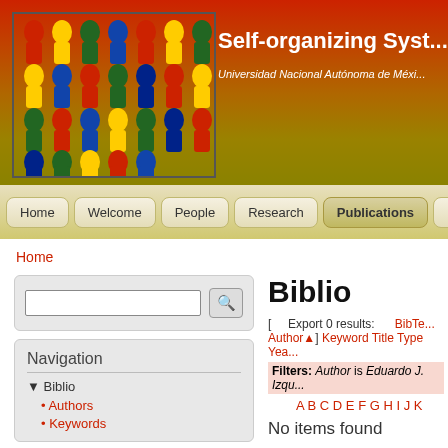[Figure (illustration): Colorful illustration of human silhouettes in various colors (red, yellow, green, blue, dark blue) arranged in a crowd pattern]
Self-organizing Syst...
Universidad Nacional Autónoma de Méxi...
Home | Welcome | People | Research | Publications | Presen...
Home
[search box]
Navigation
▾ Biblio
Authors
Keywords
Biblio
[ Export 0 results: BibTe... Author▲ ] Keyword Title Type Yea...
Filters: Author is Eduardo J. Izqu...
A B C D E F G H I J K
No items found